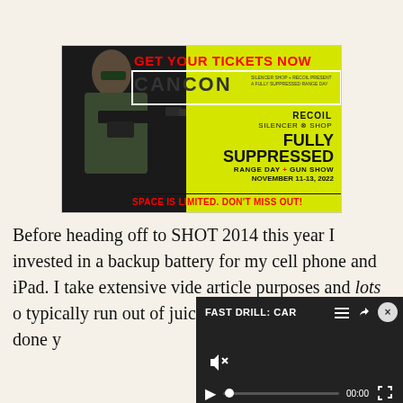[Figure (photo): Advertisement banner for CANCON event. Yellow background with a person aiming an assault rifle with suppressor. Text reads: GET YOUR TICKETS NOW, CANCON, SILENCER SHOP + RECOIL PRESENT A FULLY SUPPRESSED RANGE DAY, RECOIL, SILENCER SHOP, FULLY SUPPRESSED, RANGE DAY + GUN SHOW, NOVEMBER 11-13, 2022, SPACE IS LIMITED. DON'T MISS OUT!]
Before heading off to SHOT 2014 this year I invested in a backup battery for my cell phone and iPad. I take extensive vide article purposes and lots  typically run out of juice fa Guide 10 Plus has done y
[Figure (screenshot): Video player overlay on dark background. Title reads FAST DRILL: CAR with menu and share icons. Shows mute icon with X, play button, progress bar, timestamp 00:00, and fullscreen button.]